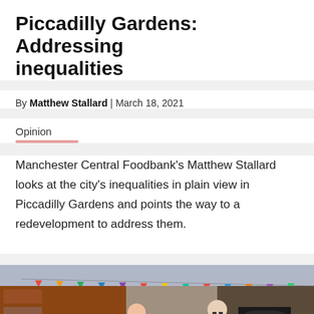Piccadilly Gardens: Addressing inequalities
By Matthew Stallard | March 18, 2021
Opinion
Manchester Central Foodbank's Matthew Stallard looks at the city's inequalities in plain view in Piccadilly Gardens and points the way to a redevelopment to address them.
[Figure (photo): Two people standing in a street with colourful bunting, brick buildings and shop fronts visible. A reCAPTCHA badge overlays the bottom right corner.]